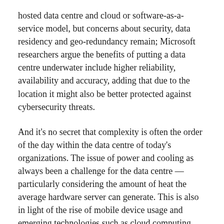hosted data centre and cloud or software-as-a-service model, but concerns about security, data residency and geo-redundancy remain; Microsoft researchers argue the benefits of putting a data centre underwater include higher reliability, availability and accuracy, adding that due to the location it might also be better protected against cybersecurity threats.
And it's no secret that complexity is often the order of the day within the data centre of today's organizations. The issue of power and cooling as always been a challenge for the data centre — particularly considering the amount of heat the average hardware server can generate. This is also in light of the rise of mobile device usage and emerging technologies such as cloud computing and the Internet of Things (IoT), all of which threaten to increase of volume of structured and unstructured